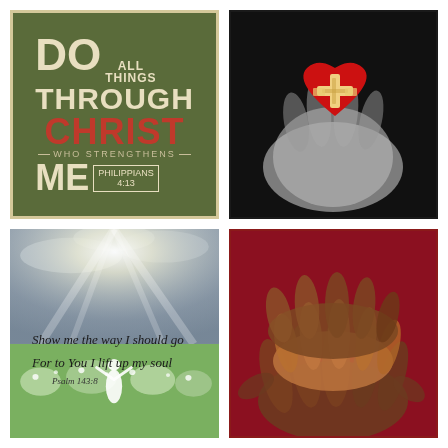[Figure (illustration): Motivational poster on green background with text: DO ALL THINGS THROUGH CHRIST WHO STRENGTHENS ME (Philippians 4:13)]
[Figure (photo): Black and white photo of hands holding a red heart with bandages/tape on it]
[Figure (illustration): Photo of a person standing in a flower field with arms raised toward bright sunlit sky, with text: Show me the way I should go For to You I lift up my soul. Psalm 143:8]
[Figure (photo): Photo of multiple hands clasped together on a red background, suggesting unity or support]